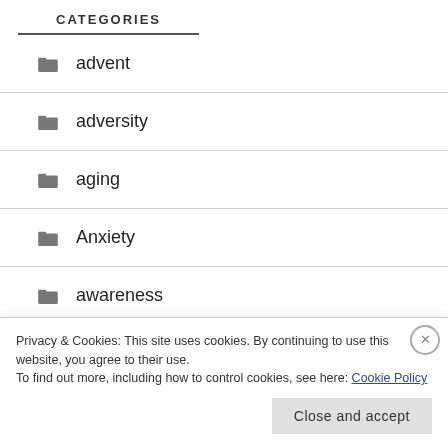CATEGORIES
advent
adversity
aging
Anxiety
awareness
balance
Privacy & Cookies: This site uses cookies. By continuing to use this website, you agree to their use.
To find out more, including how to control cookies, see here: Cookie Policy
Close and accept